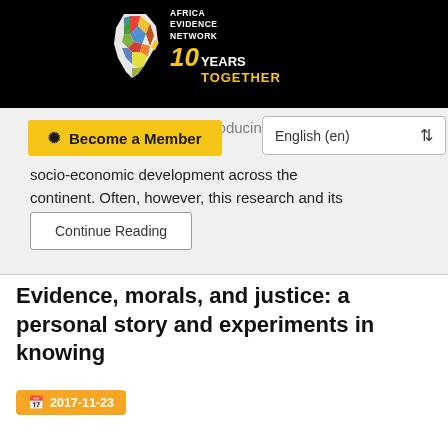[Figure (logo): Africa Evidence Network 10 Years Together logo on black background with colourful Africa map graphic]
African scientists are only producing new knowledge that helps to drive socio-economic development across the continent. Often, however, this research and its findings is only ...
Become a Member
English (en)
Continue Reading
Evidence, morals, and justice: a personal story and experiments in knowing
2017-11-23